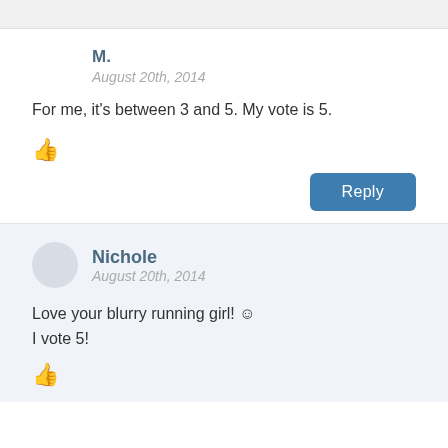M.
August 20th, 2014
For me, it's between 3 and 5. My vote is 5.
👍
Reply
Nichole
August 20th, 2014
Love your blurry running girl! ☺
I vote 5!
👍